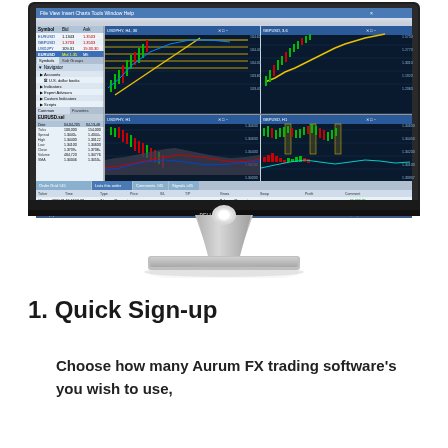[Figure (screenshot): A Dell monitor displaying MetaTrader 4 or similar forex trading platform with four chart windows showing currency pairs with candlestick charts, moving averages, and technical indicators. The left panel shows a symbol list with bid/ask prices. The bottom shows trade history and terminal panels.]
1. Quick Sign-up
Choose how many Aurum FX trading software's you wish to use,